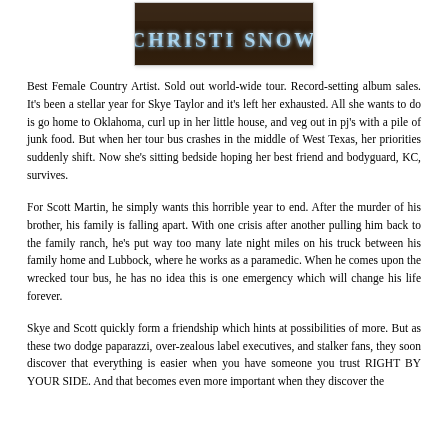[Figure (photo): Book cover image showing 'CHRISTI SNOW' text in stylized metallic/ice blue lettering on a dark wooden background]
Best Female Country Artist. Sold out world-wide tour. Record-setting album sales. It's been a stellar year for Skye Taylor and it's left her exhausted. All she wants to do is go home to Oklahoma, curl up in her little house, and veg out in pj's with a pile of junk food. But when her tour bus crashes in the middle of West Texas, her priorities suddenly shift. Now she's sitting bedside hoping her best friend and bodyguard, KC, survives.
For Scott Martin, he simply wants this horrible year to end. After the murder of his brother, his family is falling apart. With one crisis after another pulling him back to the family ranch, he's put way too many late night miles on his truck between his family home and Lubbock, where he works as a paramedic. When he comes upon the wrecked tour bus, he has no idea this is one emergency which will change his life forever.
Skye and Scott quickly form a friendship which hints at possibilities of more. But as these two dodge paparazzi, over-zealous label executives, and stalker fans, they soon discover that everything is easier when you have someone you trust RIGHT BY YOUR SIDE. And that becomes even more important when they discover the